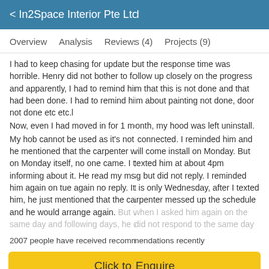< In2Space Interior Pte Ltd
Overview   Analysis   Reviews (4)   Projects (9)
I had to keep chasing for update but the response time was horrible. Henry did not bother to follow up closely on the progress and apparently, I had to remind him that this is not done and that had been done. I had to remind him about painting not done, door not done etc etc.l
Now, even I had moved in for 1 month, my hood was left uninstall. My hob cannot be used as it's not connected. I reminded him and he mentioned that the carpenter will come install on Monday. But on Monday itself, no one came. I texted him at about 4pm informing about it. He read my msg but did not reply. I reminded him again on tue again no reply. It is only Wednesday, after I texted him, he just mentioned that the carpenter messed up the schedule and he would arrange again. But when I asked him again on the same day and following days, he did not respond to the same day
2007 people have received recommendations recently
Click to Enquire